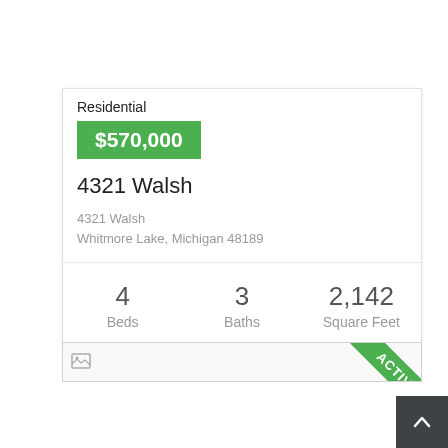Residential
$570,000
4321 Walsh
4321 Walsh
Whitmore Lake, Michigan 48189
4 Beds   3 Baths   2,142 Square Feet
[Figure (photo): Property image placeholder with small image icon in top left and an ACTIVE ribbon banner in the top right corner (green diagonal ribbon with white text)]